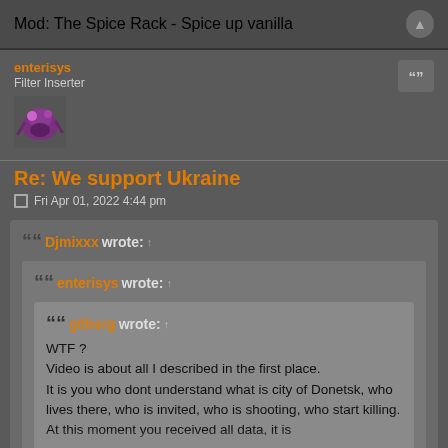Mod: The Spice Rack - Spice up vanilla
enterisys
Filter Inserter
Re: We support Ukraine
Fri Apr 01, 2022 4:44 pm
Djmixxx wrote: ↑
 enterisys wrote: ↑
  g0bsrg wrote:
  WTF ?
  Video is about all I described in the first place.
  It is you who dont understand what is city of Donetsk, who lives there, who is invited, who is shooting, who start killing.
  At this moment you received all data, it is